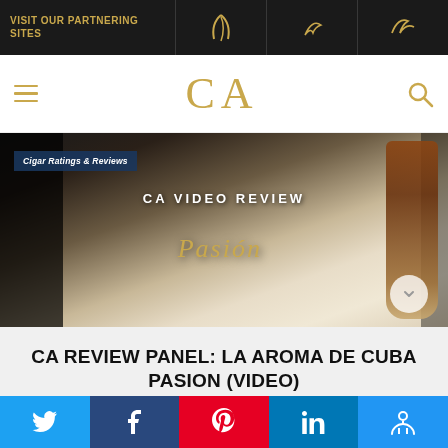VISIT OUR PARTNERING SITES
[Figure (logo): CA (Cigar Advisor) site logo in gold/tan color]
[Figure (screenshot): Hero image showing CA Video Review overlay with La Aroma de Cuba Pasion cigar box and cigar]
Cigar Ratings & Reviews
CA REVIEW PANEL: LA AROMA DE CUBA PASION (VIDEO)
By Cigar Advisor Staff | 3 Dec 21
Social share bar: Twitter, Facebook, Pinterest, LinkedIn, Accessibility